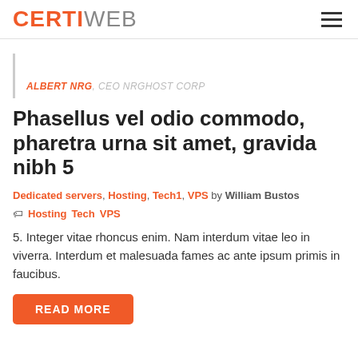CERTIWEB
ALBERT NRG, CEO NRGHOST CORP
Phasellus vel odio commodo, pharetra urna sit amet, gravida nibh 5
Dedicated servers, Hosting, Tech1, VPS by William Bustos
Hosting  Tech  VPS
5. Integer vitae rhoncus enim. Nam interdum vitae leo in viverra. Interdum et malesuada fames ac ante ipsum primis in faucibus.
READ MORE